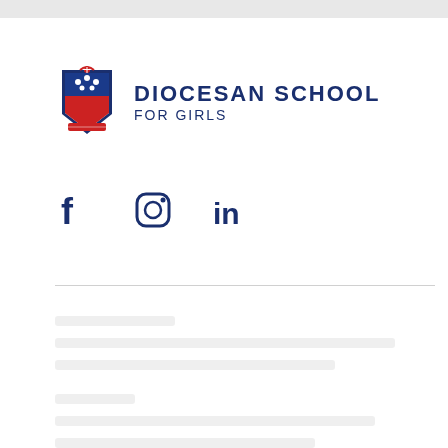[Figure (logo): Diocesan School for Girls crest/shield logo with red and blue colors, stars, and a bishop's mitre, alongside the text 'DIOCESAN SCHOOL FOR GIRLS']
[Figure (other): Social media icons: Facebook (f), Instagram (camera/circle), and LinkedIn (in) in dark navy blue]
[Figure (other): Faded/watermarked lower content area with grey divider line]